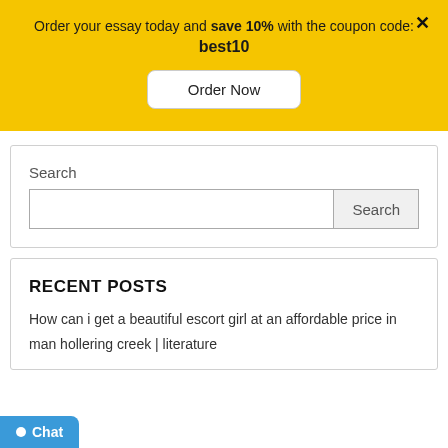Order your essay today and save 10% with the coupon code: best10
Order Now
Search
Search
RECENT POSTS
How can i get a beautiful escort girl at an affordable price in
man hollering creek | literature
Chat